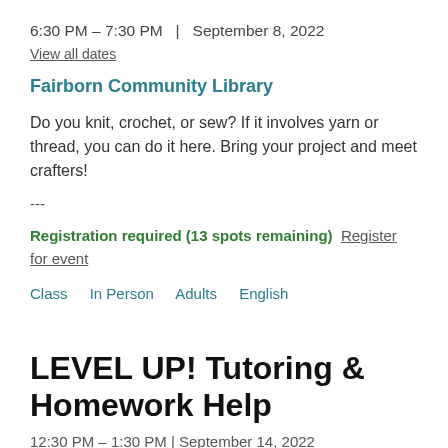6:30 PM – 7:30 PM  |  September 8, 2022
View all dates
Fairborn Community Library
Do you knit, crochet, or sew? If it involves yarn or thread, you can do it here. Bring your project and meet crafters!
---
Registration required (13 spots remaining) Register for event
Class   In Person   Adults   English
LEVEL UP! Tutoring & Homework Help
12:30 PM – 1:30 PM | September 14, 2022